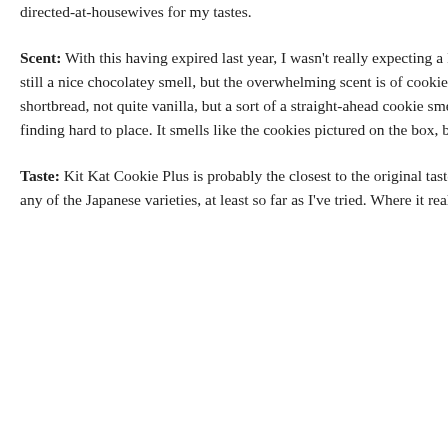directed-at-housewives for my tastes.
Scent: With this having expired last year, I wasn't really expecting a lot but there's still a nice chocolatey smell, but the overwhelming scent is of cookies. Not quite shortbread, not quite vanilla, but a sort of a straight-ahead cookie smell that I'm finding hard to place. It smells like the cookies pictured on the box, basically.
Taste: Kit Kat Cookie Plus is probably the closest to the original taste of Kit Kat of any of the Japanese varieties, at least so far as I've tried. Where it really
Kat Adult Passion Fruit
News: Comics, Cheeza, and Torys Whisky
Review: Pocky Hot Cocoa (Kumamon Edition)
Review: Pocky Panda Cookies & Cream
Review: Annin Dofu Kit Kat
Review: Spiral Grape
Review: Kit-Kat
Review: Kit Kat Kinako Ohagi
Review: Meiji Mango Chocolate
Recent Comments
heath on Review: Ito En Veggie Shot
Paulo Rodrigues on Review: